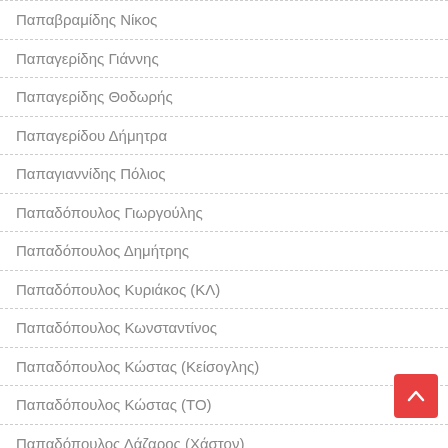Παπαβραμίδης Νίκος
Παπαγερίδης Γιάννης
Παπαγερίδης Θοδωρής
Παπαγερίδου Δήμητρα
Παπαγιαννίδης Πόλιος
Παπαδόπουλος Γιωργούλης
Παπαδόπουλος Δημήτρης
Παπαδόπουλος Κυριάκος (ΚΛ)
Παπαδόπουλος Κωνσταντίνος
Παπαδόπουλος Κώστας (Κείσογλης)
Παπαδόπουλος Κώστας (ΤΟ)
Παπαδόπουλος Λάζαρος (Χάστον)